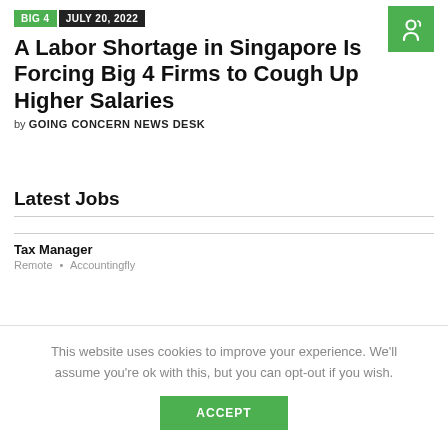BIG 4   JULY 20, 2022
A Labor Shortage in Singapore Is Forcing Big 4 Firms to Cough Up Higher Salaries
by GOING CONCERN NEWS DESK
Latest Jobs
Tax Manager
Remote • Accountingfly
This website uses cookies to improve your experience. We'll assume you're ok with this, but you can opt-out if you wish.
ACCEPT